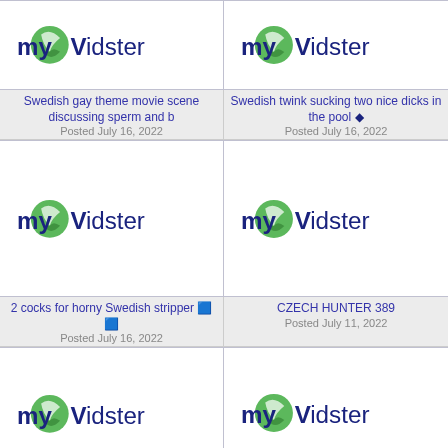[Figure (screenshot): myVidster logo placeholder thumbnail - top left]
Swedish gay theme movie scene discussing sperm and b
Posted July 16, 2022
[Figure (screenshot): myVidster logo placeholder thumbnail - top right]
Swedish twink sucking two nice dicks in the pool 🔷
Posted July 16, 2022
[Figure (screenshot): myVidster logo placeholder thumbnail - middle left]
2 cocks for horny Swedish stripper 🟦🟦
Posted July 16, 2022
[Figure (screenshot): myVidster logo placeholder thumbnail - middle right]
CZECH HUNTER 389
Posted July 11, 2022
[Figure (screenshot): myVidster logo placeholder thumbnail - bottom left]
[Figure (screenshot): myVidster logo placeholder thumbnail - bottom right]